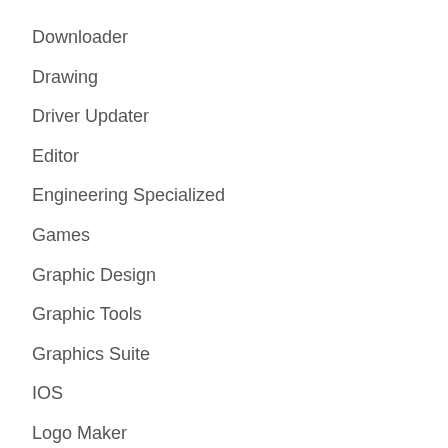Downloader
Drawing
Driver Updater
Editor
Engineering Specialized
Games
Graphic Design
Graphic Tools
Graphics Suite
IOS
Logo Maker
Mac